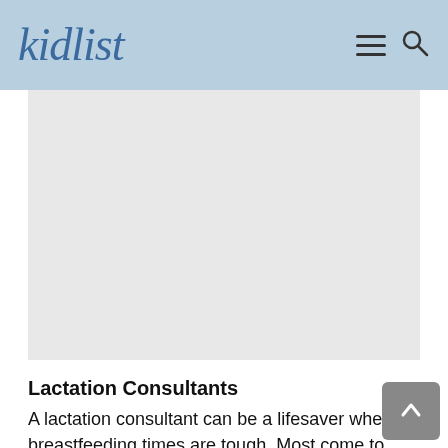kidlist
[Figure (other): Advertisement placeholder area, light gray rectangle]
Lactation Consultants
A lactation consultant can be a lifesaver when breastfeeding times are tough. Most come to your home and can quickly identify issues and provide solutions just by watching you feed your